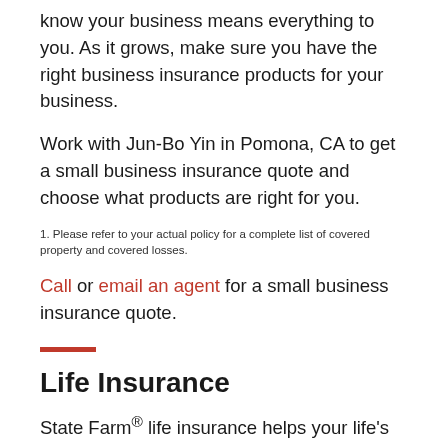know your business means everything to you. As it grows, make sure you have the right business insurance products for your business.
Work with Jun-Bo Yin in Pomona, CA to get a small business insurance quote and choose what products are right for you.
1. Please refer to your actual policy for a complete list of covered property and covered losses.
Call or email an agent for a small business insurance quote.
Life Insurance
State Farm® life insurance helps your life's moments live on. Whether it keeps paying the mortgage, maintains a